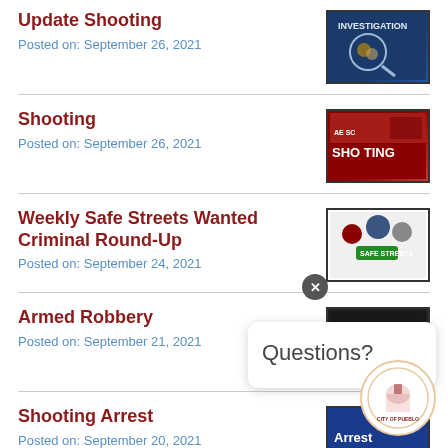Update Shooting
Posted on: September 26, 2021
Shooting
Posted on: September 26, 2021
Weekly Safe Streets Wanted Criminal Round-Up
Posted on: September 24, 2021
Armed Robbery
Posted on: September 21, 2021
Shooting Arrest
Posted on: September 20, 2021
Shooting